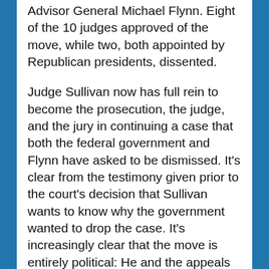Advisor General Michael Flynn. Eight of the 10 judges approved of the move, while two, both appointed by Republican presidents, dissented.
Judge Sullivan now has full rein to become the prosecution, the judge, and the jury in continuing a case that both the federal government and Flynn have asked to be dismissed. It’s clear from the testimony given prior to the court’s decision that Sullivan wants to know why the government wanted to drop the case. It’s increasingly clear that the move is entirely political: He and the appeals court are hoping to find a “smoking gun” behind the government’s move to dismiss its case against Flynn.
Flynn pleaded guilty in December 2017 to lying to two federal agents over a conversation he had with a Russian diplomat earlier that year. It turned out later that that